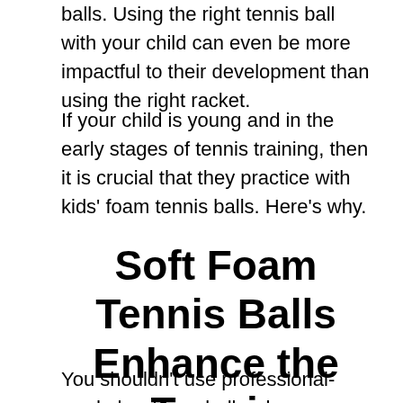balls. Using the right tennis ball with your child can even be more impactful to their development than using the right racket.
If your child is young and in the early stages of tennis training, then it is crucial that they practice with kids' foam tennis balls. Here's why.
Soft Foam Tennis Balls Enhance the Tennis Development Cycle
You shouldn't use professional-grade hard baseballs when coaching baseball to young